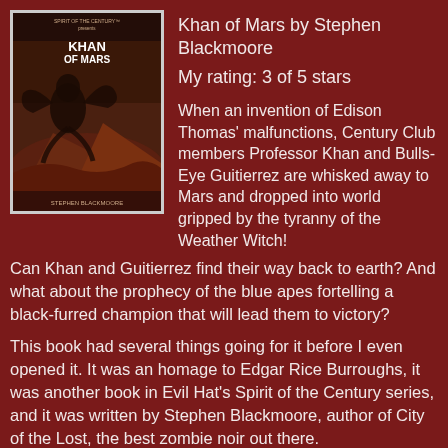Khan of Mars by Stephen Blackmoore
My rating: 3 of 5 stars
[Figure (illustration): Book cover of Khan of Mars by Stephen Blackmoore, Spirit of the Century series, showing a dramatic science fantasy illustration with a dark figure and creature on a reddish background.]
When an invention of Edison Thomas' malfunctions, Century Club members Professor Khan and Bulls-Eye Guitierrez are whisked away to Mars and dropped into world gripped by the tyranny of the Weather Witch! Can Khan and Guitierrez find their way back to earth? And what about the prophecy of the blue apes fortelling a black-furred champion that will lead them to victory?
This book had several things going for it before I even opened it. It was an homage to Edgar Rice Burroughs, it was another book in Evil Hat's Spirit of the Century series, and it was written by Stephen Blackmoore, author of City of the Lost, the best zombie noir out there.
Khan of Mars takes my favorite character from the Dinocalypse series and thrusts him into the forefront in this homage to the planetary romance/sword and planet genre.